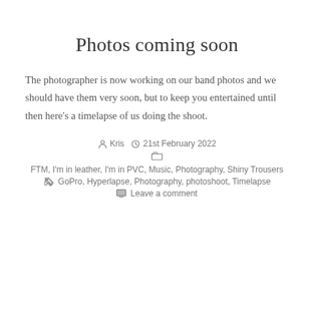Photos coming soon
The photographer is now working on our band photos and we should have them very soon, but to keep you entertained until then here's a timelapse of us doing the shoot.
Kris  21st February 2022
FTM, I'm in leather, I'm in PVC, Music, Photography, Shiny Trousers
GoPro, Hyperlapse, Photography, photoshoot, Timelapse
Leave a comment